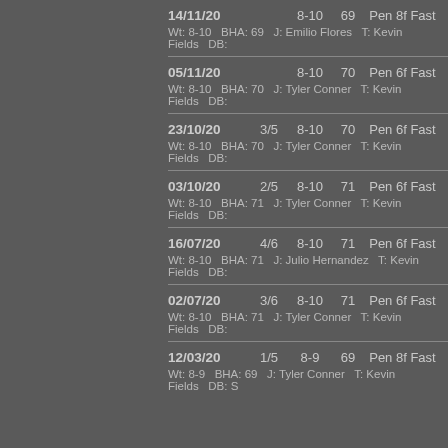14/11/20   8-10   69   Pen 8f Fast
Wt: 8-10   BHA: 69   J: Emilio Flores   T: Kevin Fields   DB:
05/11/20   8-10   70   Pen 6f Fast
Wt: 8-10   BHA: 70   J: Tyler Conner   T: Kevin Fields   DB:
23/10/20   3/5   8-10   70   Pen 6f Fast
Wt: 8-10   BHA: 70   J: Tyler Conner   T: Kevin Fields   DB:
03/10/20   2/5   8-10   71   Pen 6f Fast
Wt: 8-10   BHA: 71   J: Tyler Conner   T: Kevin Fields   DB:
16/07/20   4/6   8-10   71   Pen 6f Fast
Wt: 8-10   BHA: 71   J: Julio Hernandez   T: Kevin Fields   DB:
02/07/20   3/6   8-10   71   Pen 6f Fast
Wt: 8-10   BHA: 71   J: Tyler Conner   T: Kevin Fields   DB:
12/03/20   1/5   8-9   69   Pen 8f Fast
Wt: 8-9   BHA: 69   J: Tyler Conner   T: Kevin Fields   DB: S